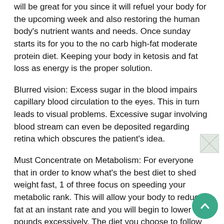will be great for you since it will refuel your body for the upcoming week and also restoring the human body's nutrient wants and needs. Once sunday starts its for you to the no carb high-fat moderate protein diet. Keeping your body in ketosis and fat loss as energy is the proper solution.
Blurred vision: Excess sugar in the blood impairs capillary blood circulation to the eyes. This in turn leads to visual problems. Excessive sugar involving blood stream can even be deposited regarding retina which obscures the patient's idea.
Must Concentrate on Metabolism: For everyone that in order to know what's the best diet to shed weight fast, 1 of three focus on speeding your metabolic rank. This will allow your body to reduce fat at an instant rate and you will begin to lower pounds excessively. The diet you choose to follow has with regard to easy to assist you to go within or else you will have a hard time staying that has us convinced it and you will fail attain your target weight loss. Don't follow any diet that keeps you limited because you lose some weight fast, a person won't keep that weight off.
[Figure (photo): Small broken/loading image icon in upper right area]